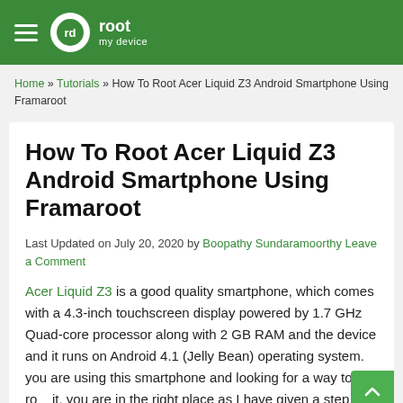root my device
Home » Tutorials » How To Root Acer Liquid Z3 Android Smartphone Using Framaroot
How To Root Acer Liquid Z3 Android Smartphone Using Framaroot
Last Updated on July 20, 2020 by Boopathy Sundaramoorthy Leave a Comment
Acer Liquid Z3 is a good quality smartphone, which comes with a 4.3-inch touchscreen display powered by 1.7 GHz Quad-core processor along with 2 GB RAM and the device and it runs on Android 4.1 (Jelly Bean) operating system. you are using this smartphone and looking for a way to root it, you are in the right place as I have given a step by step tutorial to root Acer Liquid Z3 here.